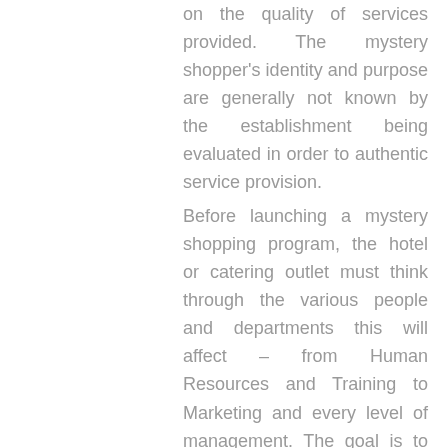on the quality of services provided. The mystery shopper's identity and purpose are generally not known by the establishment being evaluated in order to authentic service provision.
Before launching a mystery shopping program, the hotel or catering outlet must think through the various people and departments this will affect – from Human Resources and Training to Marketing and every level of management. The goal is to ensure everyone in the organisation understands that the ultimate purpose of the mystery shopping program is to improve the specific behaviours that will create customer delight and positively impact sales and profitability.